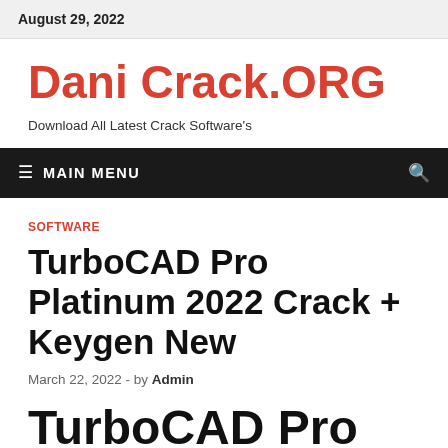August 29, 2022
Dani Crack.ORG
Download All Latest Crack Software's
≡  MAIN MENU
SOFTWARE
TurboCAD Pro Platinum 2022 Crack + Keygen New
March 22, 2022  -  by Admin
TurboCAD Pro Plati…